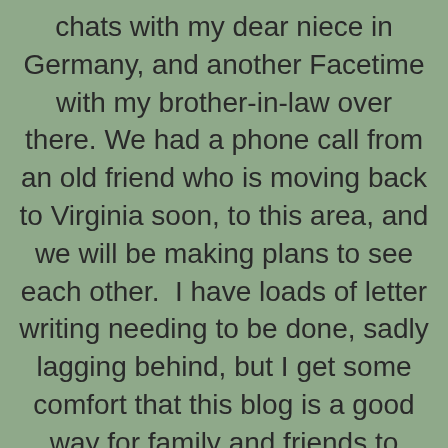chats with my dear niece in Germany, and another Facetime with my brother-in-law over there. We had a phone call from an old friend who is moving back to Virginia soon, to this area, and we will be making plans to see each other.  I have loads of letter writing needing to be done, sadly lagging behind, but I get some comfort that this blog is a good way for family and friends to catch up with us in the meantime.
After last week's walk around the nature refuge, we went back to Green Spring Gardens.  I wanted to check out this